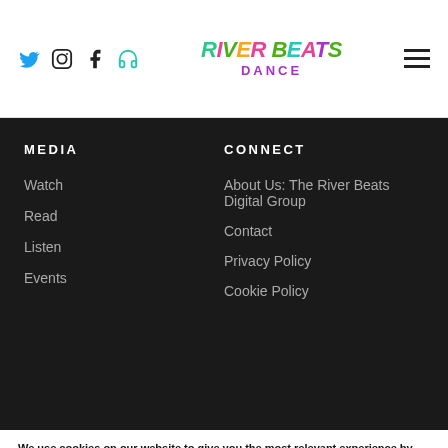[Figure (logo): River Beats Dance logo with colorful stylized text]
MEDIA
Watch
Read
Listen
Events
CONNECT
About Us: The River Beats Digital Group
Contact
Privacy Policy
Cookie Policy
We use cookies on our website to give you the most relevant experience by remembering your preferences and repeat visits. By clicking “Accept All”, you consent to the use of ALL the cookies. However, you may visit "Cookie Settings" to provide a controlled consent.
Cookie Settings
Accept All